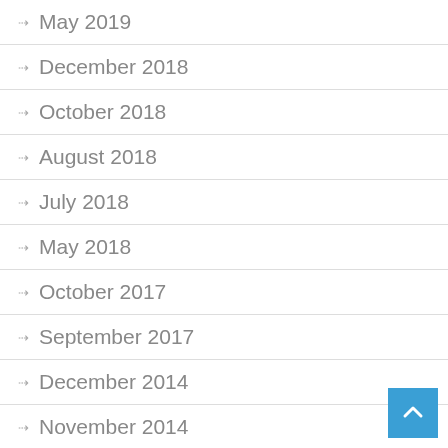May 2019
December 2018
October 2018
August 2018
July 2018
May 2018
October 2017
September 2017
December 2014
November 2014
October 2014
September 2014
August 2014